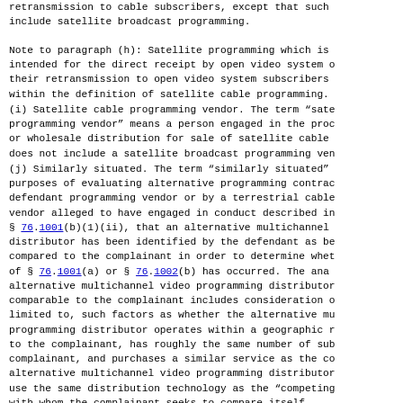retransmission to cable subscribers, except that such include satellite broadcast programming.
Note to paragraph (h): Satellite programming which is intended for the direct receipt by open video system o their retransmission to open video system subscribers within the definition of satellite cable programming.
(i) Satellite cable programming vendor. The term "sate programming vendor" means a person engaged in the proc or wholesale distribution for sale of satellite cable does not include a satellite broadcast programming ven
(j) Similarly situated. The term "similarly situated" purposes of evaluating alternative programming contrac defendant programming vendor or by a terrestrial cable vendor alleged to have engaged in conduct described in § 76.1001(b)(1)(ii), that an alternative multichannel distributor has been identified by the defendant as be compared to the complainant in order to determine whet of § 76.1001(a) or § 76.1002(b) has occurred. The ana alternative multichannel video programming distributor comparable to the complainant includes consideration o limited to, such factors as whether the alternative mu programming distributor operates within a geographic r to the complainant, has roughly the same number of sub complainant, and purchases a similar service as the co alternative multichannel video programming distributor use the same distribution technology as the "competing with whom the complainant seeks to compare itself.